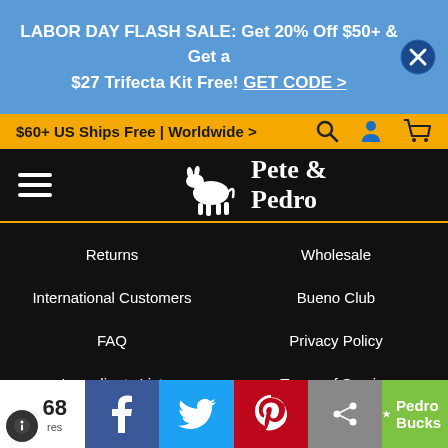LABOR DAY FLASH SALE: Get 20% Off $50+ & Get a $27 Trifecta Kit Free! GET CODE >
$60+ US Ships Free | Worldwide >
[Figure (logo): Pete & Pedro logo with donkey silhouette on black navigation bar]
Returns
Wholesale
International Customers
Bueno Club
FAQ
Privacy Policy
Ingredients List
Terms of Service
Advice
Reviews
68 shares
Pedro Bucks